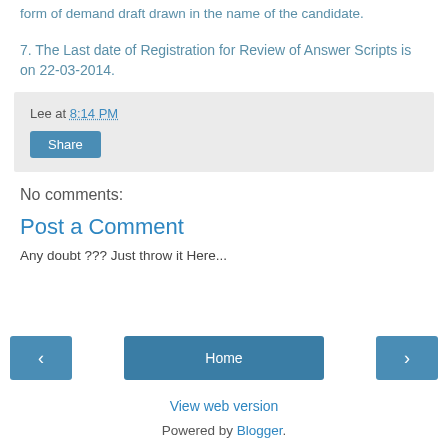form of demand draft drawn in the name of the candidate.
7. The Last date of Registration for Review of Answer Scripts is on 22-03-2014.
Lee at 8:14 PM
Share
No comments:
Post a Comment
Any doubt ??? Just throw it Here...
‹ Home › View web version Powered by Blogger.